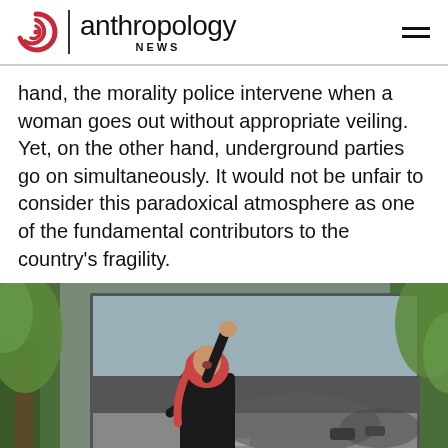anthropology NEWS
hand, the morality police intervene when a woman goes out without appropriate veiling. Yet, on the other hand, underground parties go on simultaneously. It would not be unfair to consider this paradoxical atmosphere as one of the fundamental contributors to the country's fragility.
[Figure (photo): A woman in a black outfit and pink headscarf raises her fist and shouts during a street protest. A crowd of people and motorcycles are visible in the background on a city street. Trees with green foliage are visible on either side.]